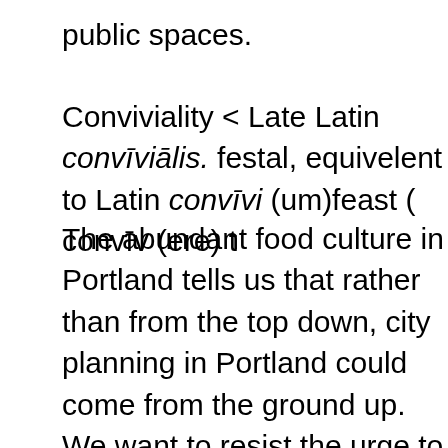public spaces.
Conviviality < Late Latin convīviālis. festal, equivelent to Latin convīvi (um)feast ( convīv (ere) t
The abundant food culture in Portland tells us that rather than from the top down, city planning in Portland could come from the ground up. We want to resist the urge to compact, fill, and patch the shallow, friable scratch that will form Portland's Green Loop. Bio-swales are the first step in letting Portland's geologic underpinnings and alluvial deposits breathe with the new city built atop it. The premier recycler on the planet is not the Bureau of Planning